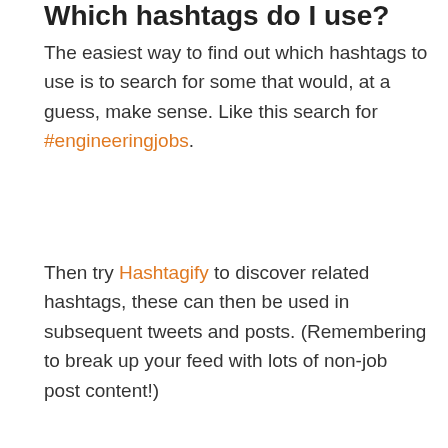Which hashtags do I use?
The easiest way to find out which hashtags to use is to search for some that would, at a guess, make sense. Like this search for #engineeringjobs.
Then try Hashtagify to discover related hashtags, these can then be used in subsequent tweets and posts. (Remembering to break up your feed with lots of non-job post content!)